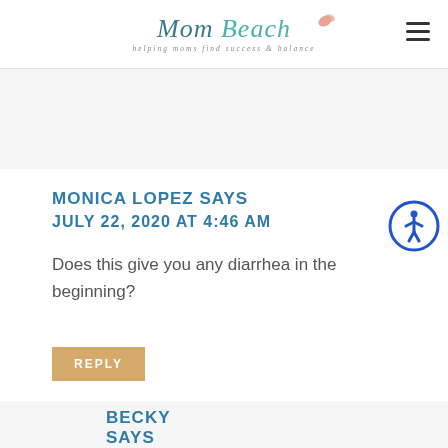Mom Beach — helping moms find success & balance
MONICA LOPEZ SAYS
JULY 22, 2020 AT 4:46 AM
Does this give you any diarrhea in the beginning?
REPLY
BECKY SAYS